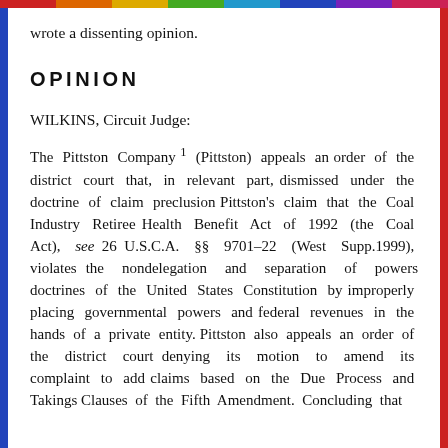wrote a dissenting opinion.
OPINION
WILKINS, Circuit Judge:
The Pittston Company¹ (Pittston) appeals an order of the district court that, in relevant part, dismissed under the doctrine of claim preclusion Pittston's claim that the Coal Industry Retiree Health Benefit Act of 1992 (the Coal Act), see 26 U.S.C.A. §§ 9701-22 (West Supp.1999), violates the nondelegation and separation of powers doctrines of the United States Constitution by improperly placing governmental powers and federal revenues in the hands of a private entity. Pittston also appeals an order of the district court denying its motion to amend its complaint to add claims based on the Due Process and Takings Clauses of the Fifth Amendment. Concluding that